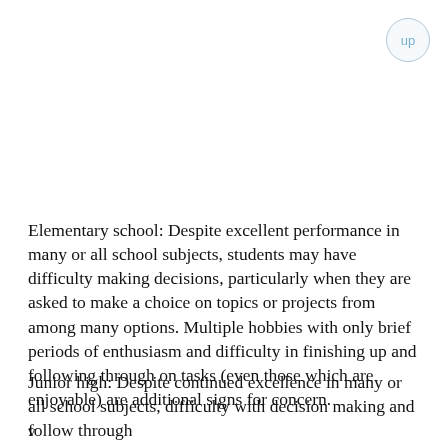[Figure (other): A circular 'up' navigation button in the top-right corner, light blue text on a light grey/white circle with a thin blue-grey border.]
Elementary school: Despite excellent performance in many or all school subjects, students may have difficulty making decisions, particularly when they are asked to make a choice on topics or projects from among many options. Multiple hobbies with only brief periods of enthusiasm and difficulty in finishing up and following through on tasks (even those which are enjoyable) are additional signs for concern.
Junior high: Despite continued excellence in many or all school subjects, difficulty with decision making and follow through
v